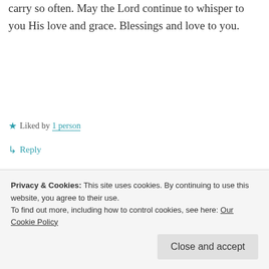carry so often. May the Lord continue to whisper to you His love and grace. Blessings and love to you.
★ Liked by 1 person
↳ Reply
Bettie G
Privacy & Cookies: This site uses cookies. By continuing to use this website, you agree to their use.
To find out more, including how to control cookies, see here: Our Cookie Policy